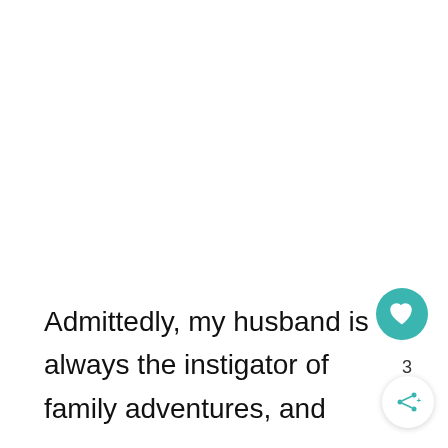Admittedly, my husband is always the instigator of family adventures, and